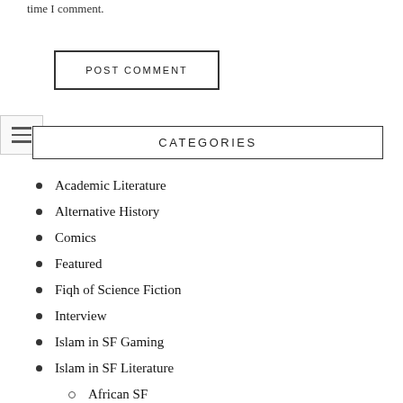time I comment.
POST COMMENT
CATEGORIES
Academic Literature
Alternative History
Comics
Featured
Fiqh of Science Fiction
Interview
Islam in SF Gaming
Islam in SF Literature
African SF
Arabic SF